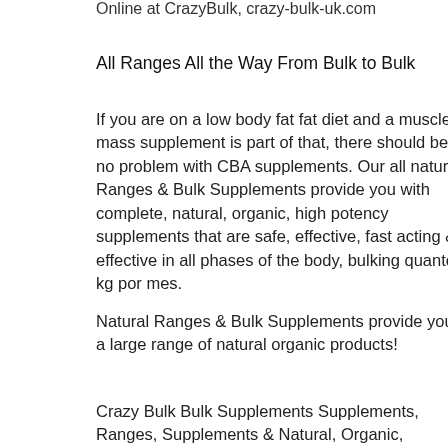Online at CrazyBulk, crazy-bulk-uk.com
All Ranges All the Way From Bulk to Bulk
If you are on a low body fat fat diet and a muscle mass supplement is part of that, there should be no problem with CBA supplements. Our all natural Ranges & Bulk Supplements provide you with complete, natural, organic, high potency supplements that are safe, effective, fast acting & effective in all phases of the body, bulking quantos kg por mes.
Natural Ranges & Bulk Supplements provide you a large range of natural organic products!
Crazy Bulk Bulk Supplements Supplements, Ranges, Supplements & Natural, Organic,